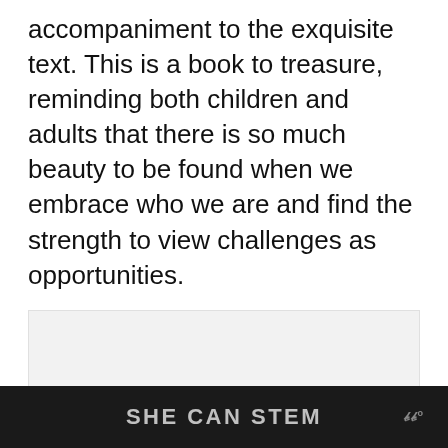accompaniment to the exquisite text. This is a book to treasure, reminding both children and adults that there is so much beauty to be found when we embrace who we are and find the strength to view challenges as opportunities.
[Figure (screenshot): Light gray rectangular image placeholder area with three gray dots at the bottom center, resembling a slideshow or carousel indicator.]
SHE CAN STEM